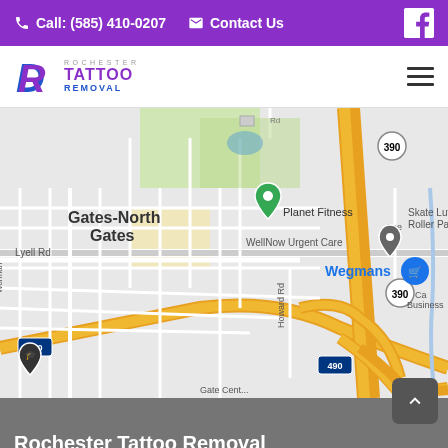Call: (585) 410-0207  Contact Us
[Figure (logo): Rochester Tattoo Removal logo with stylized R and purple/blue text]
[Figure (map): Google Maps screenshot showing Gates-North Gates area in Rochester NY with markers for Planet Fitness, WellNow Urgent Care, Wegmans, Skate Luv Roller Pal, and highway interchanges for I-490 and Route 390]
Rochester Tattoo Removal